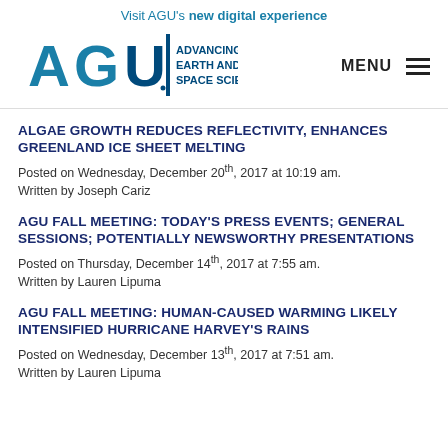Visit AGU's new digital experience
[Figure (logo): AGU logo — Advancing Earth and Space Science wordmark in teal/dark blue]
ALGAE GROWTH REDUCES REFLECTIVITY, ENHANCES GREENLAND ICE SHEET MELTING
Posted on Wednesday, December 20th, 2017 at 10:19 am.
Written by Joseph Cariz
AGU FALL MEETING: TODAY'S PRESS EVENTS; GENERAL SESSIONS; POTENTIALLY NEWSWORTHY PRESENTATIONS
Posted on Thursday, December 14th, 2017 at 7:55 am.
Written by Lauren Lipuma
AGU FALL MEETING: HUMAN-CAUSED WARMING LIKELY INTENSIFIED HURRICANE HARVEY'S RAINS
Posted on Wednesday, December 13th, 2017 at 7:51 am.
Written by Lauren Lipuma